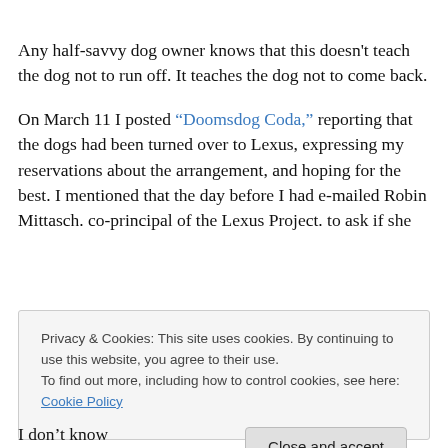Any half-savvy dog owner knows that this doesn't teach the dog not to run off. It teaches the dog not to come back.
On March 11 I posted "Doomsdog Coda," reporting that the dogs had been turned over to Lexus, expressing my reservations about the arrangement, and hoping for the best. I mentioned that the day before I had e-mailed Robin Mittasch. co-principal of the Lexus Project. to ask if she
Privacy & Cookies: This site uses cookies. By continuing to use this website, you agree to their use.
To find out more, including how to control cookies, see here: Cookie Policy
I don't know